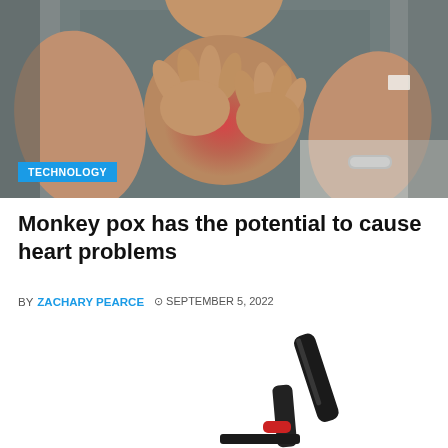[Figure (photo): Close-up of a person in a grey shirt holding their chest with both hands, with a reddish glow at the chest area suggesting heart pain or discomfort. The person is wearing a silver bracelet on one wrist.]
TECHNOLOGY
Monkey pox has the potential to cause heart problems
BY ZACHARY PEARCE  © SEPTEMBER 5, 2022
[Figure (photo): Partial view of a black electric scooter or similar device, showing the handlebar pole and part of the base with red accent details, on a white background.]